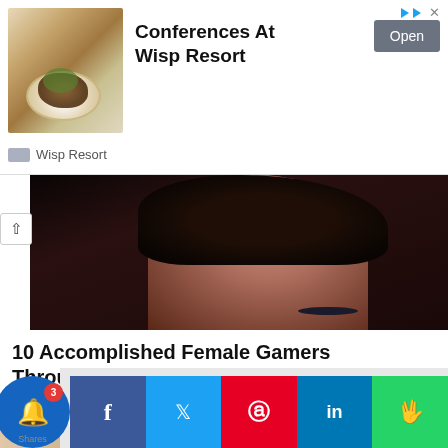[Figure (screenshot): Advertisement banner for Wisp Resort showing a food dish photo on left, text 'Conferences At Wisp Resort' in center, and an 'Open' button on right]
[Figure (photo): Close-up photo of a female gamer's face with dark hair, partially cropped, dark background]
10 Accomplished Female Gamers Throughout Esports History
BRAINBERRIES
[Figure (photo): Close-up photo of a male gamer's profile, short dark hair, wearing glasses]
[Figure (screenshot): Search ad overlay showing 'Search for' header with two results: 1. IRAQI DINAR EXCHANGE RATES, 2. IRAQI DINAR RATE TODAY. Yahoo! Search | Sponsored]
Shares